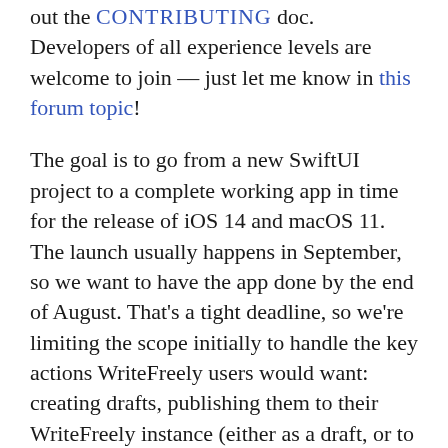out the CONTRIBUTING doc. Developers of all experience levels are welcome to join — just let me know in this forum topic!
The goal is to go from a new SwiftUI project to a complete working app in time for the release of iOS 14 and macOS 11. The launch usually happens in September, so we want to have the app done by the end of August. That's a tight deadline, so we're limiting the scope initially to handle the key actions WriteFreely users would want: creating drafts, publishing them to their WriteFreely instance (either as a draft, or to a collection), and updating those posts.